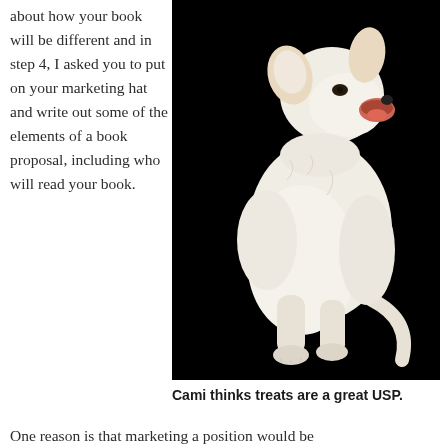about how your book will be different and in step 4, I asked you to put on your marketing hat and write out some of the elements of a book proposal, including who will read your book.
[Figure (photo): A white fluffy dog (Cami) photographed against a black background, sitting and looking upward with mouth open.]
Cami thinks treats are a great USP.
One reason is that marketing a position would be